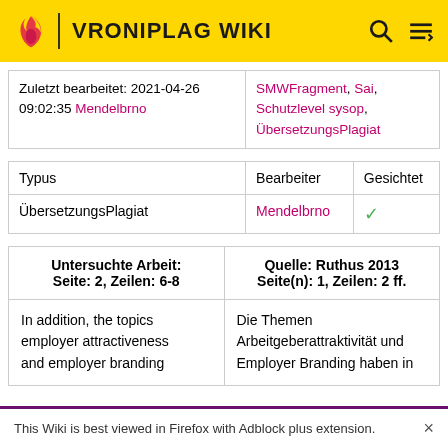VRONIPLAG WIKI
| Zuletzt bearbeitet | Tags |
| --- | --- |
| Zuletzt bearbeitet: 2021-04-26 09:02:35 Mendelbrno | SMWFragment, Sai, Schutzlevel sysop, ÜbersetzungsPlagiat |
| Typus | Bearbeiter | Gesichtet |
| --- | --- | --- |
| ÜbersetzungsPlagiat | Mendelbrno | ✓ |
| Untersuchte Arbeit: Seite: 2, Zeilen: 6-8 | Quelle: Ruthus 2013 Seite(n): 1, Zeilen: 2 ff. |
| --- | --- |
| In addition, the topics employer attractiveness and employer branding | Die Themen Arbeitgeberattraktivität und Employer Branding haben in |
This Wiki is best viewed in Firefox with Adblock plus extension.